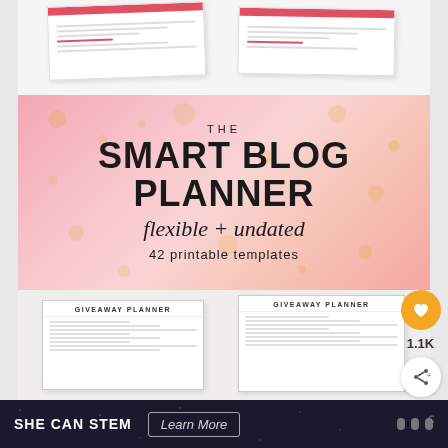[Figure (screenshot): Top marble/white background section with template preview cards showing red-accented planner pages]
[Figure (infographic): Pink confetti banner reading: THE / SMART BLOG PLANNER / flexible + undated / 42 printable templates]
[Figure (screenshot): Middle marble section with two Giveaway Planner template preview cards and social share buttons (heart/1.1K/share)]
[Figure (infographic): Bottom dark ad bar: SHE CAN STEM | Learn More button | logo mark]